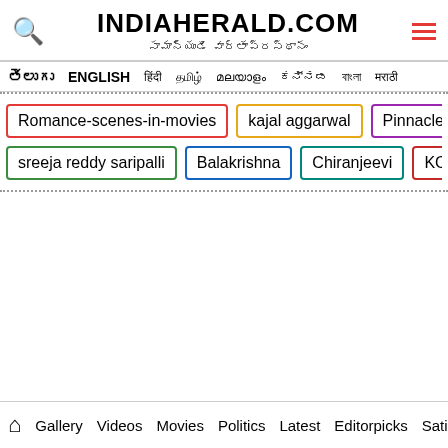INDIAHERALD.COM — సామాన్యుడి వార్తాప్రస్థానం
తెలుగు ENGLISH
Romance-scenes-in-movies
kajal aggarwal
Pinnacle Bloo…
sreeja reddy saripalli
Balakrishna
Chiranjeevi
KCR
Gallery Videos Movies Politics Latest Editorpicks Satire